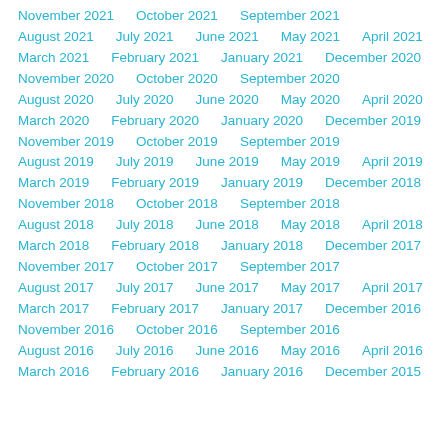November 2021   October 2021   September 2021
August 2021   July 2021   June 2021   May 2021   April 2021
March 2021   February 2021   January 2021   December 2020
November 2020   October 2020   September 2020
August 2020   July 2020   June 2020   May 2020   April 2020
March 2020   February 2020   January 2020   December 2019
November 2019   October 2019   September 2019
August 2019   July 2019   June 2019   May 2019   April 2019
March 2019   February 2019   January 2019   December 2018
November 2018   October 2018   September 2018
August 2018   July 2018   June 2018   May 2018   April 2018
March 2018   February 2018   January 2018   December 2017
November 2017   October 2017   September 2017
August 2017   July 2017   June 2017   May 2017   April 2017
March 2017   February 2017   January 2017   December 2016
November 2016   October 2016   September 2016
August 2016   July 2016   June 2016   May 2016   April 2016
March 2016   February 2016   January 2016   December 2015